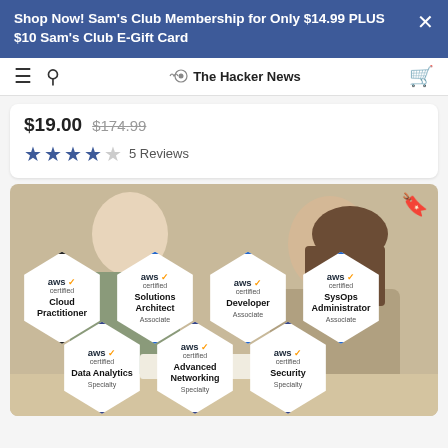Shop Now! Sam's Club Membership for Only $14.99 PLUS $10 Sam's Club E-Gift Card
The Hacker News
$19.00  $174.99
5 Reviews
[Figure (photo): Two people working at a desk with 7 AWS certification badge hexagons overlaid: Cloud Practitioner, Solutions Architect Associate, Developer Associate, SysOps Administrator Associate, Data Analytics Specialty, Advanced Networking Specialty, Security Specialty]